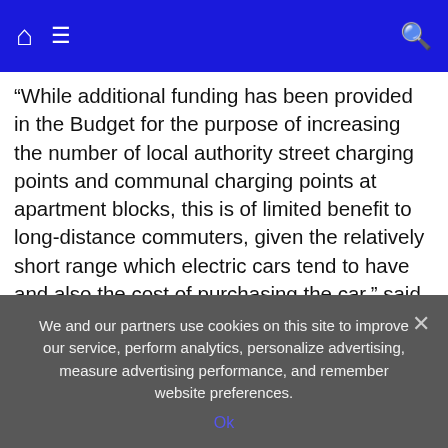Navigation bar with home icon, hamburger menu, and search icon
“While additional funding has been provided in the Budget for the purpose of increasing the number of local authority street charging points and communal charging points at apartment blocks, this is of limited benefit to long-distance commuters, given the relatively short range which electric cars tend to have and also the cost of purchasing the car,” said Dowley. “Concessions from carbon tax for commuters – such as a rebate scheme – could have reduced the immediate impact on commuters.”
We and our partners use cookies on this site to improve our service, perform analytics, personalize advertising, measure advertising performance, and remember website preferences.
Ok